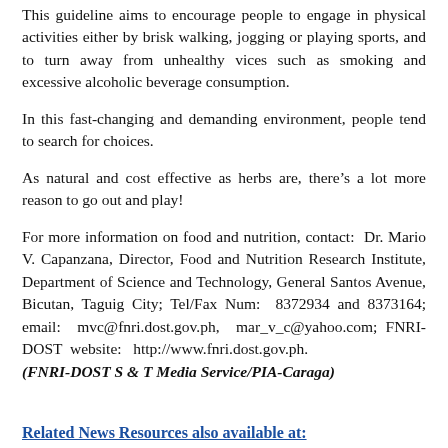This guideline aims to encourage people to engage in physical activities either by brisk walking, jogging or playing sports, and to turn away from unhealthy vices such as smoking and excessive alcoholic beverage consumption.
In this fast-changing and demanding environment, people tend to search for choices.
As natural and cost effective as herbs are, there’s a lot more reason to go out and play!
For more information on food and nutrition, contact: Dr. Mario V. Capanzana, Director, Food and Nutrition Research Institute, Department of Science and Technology, General Santos Avenue, Bicutan, Taguig City; Tel/Fax Num: 8372934 and 8373164; email: mvc@fnri.dost.gov.ph, mar_v_c@yahoo.com; FNRI-DOST website: http://www.fnri.dost.gov.ph. (FNRI-DOST S & T Media Service/PIA-Caraga)
Related News Resources also available at: